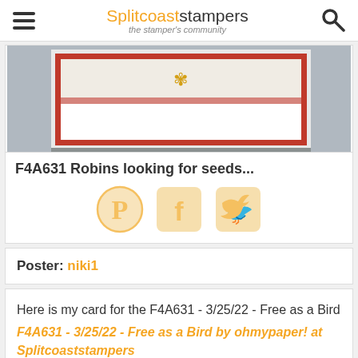Splitcoaststampers – the stamper's community
[Figure (photo): Photo of a handmade card with red border, white interior, and a gold decorative element, partially cropped.]
F4A631 Robins looking for seeds...
[Figure (infographic): Social sharing icons: Pinterest (circular P), Facebook (square f), Twitter (square bird) in pale orange/gold color.]
Poster: niki1
Here is my card for the F4A631 - 3/25/22 - Free as a Bird
F4A631 - 3/25/22 - Free as a Bird by ohmypaper! at Splitcoaststampers